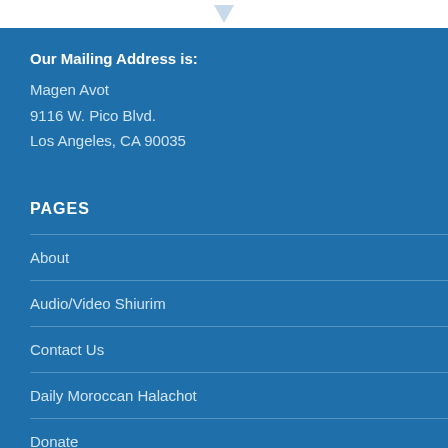Our Mailing Address is:
Magen Avot
9116 W. Pico Blvd.
Los Angeles, CA 90035
PAGES
About
Audio/Video Shiurim
Contact Us
Daily Moroccan Halachot
Donate